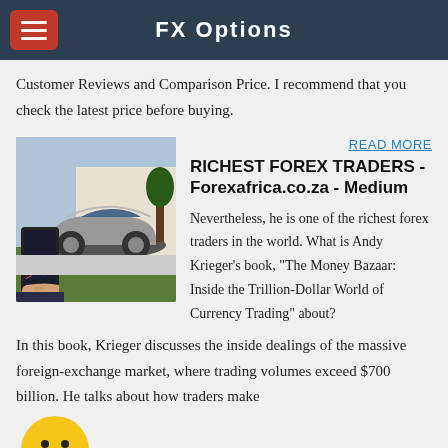FX Options
Customer Reviews and Comparison Price. I recommend that you check the latest price before buying.
[Figure (photo): Photo of a silver sports car (McLaren) in a driveway and a hand holding a smartphone showing a forex trading app]
READ MORE
RICHEST FOREX TRADERS - Forexafrica.co.za - Medium
Nevertheless, he is one of the richest forex traders in the world. What is Andy Krieger's book, "The Money Bazaar: Inside the Trillion-Dollar World of Currency Trading" about? In this book, Krieger discusses the inside dealings of the massive foreign-exchange market, where trading volumes exceed $700 billion. He talks about how traders make
[Figure (photo): Circular yellow emoji/smiley face graphic at bottom left]
READ MORE